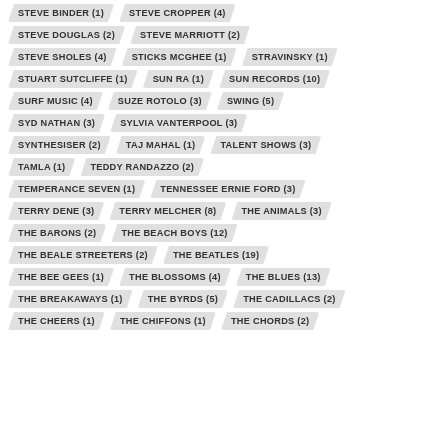STEVE BINDER (1)
STEVE CROPPER (4)
STEVE DOUGLAS (2)
STEVE MARRIOTT (2)
STEVE SHOLES (4)
STICKS MCGHEE (1)
STRAVINSKY (1)
STUART SUTCLIFFE (1)
SUN RA (1)
SUN RECORDS (10)
SURF MUSIC (4)
SUZE ROTOLO (3)
SWING (5)
SYD NATHAN (3)
SYLVIA VANTERPOOL (3)
SYNTHESISER (2)
TAJ MAHAL (1)
TALENT SHOWS (3)
TAMLA (1)
TEDDY RANDAZZO (2)
TEMPERANCE SEVEN (1)
TENNESSEE ERNIE FORD (3)
TERRY DENE (3)
TERRY MELCHER (8)
THE ANIMALS (3)
THE BARONS (2)
THE BEACH BOYS (12)
THE BEALE STREETERS (2)
THE BEATLES (19)
THE BEE GEES (1)
THE BLOSSOMS (4)
THE BLUES (13)
THE BREAKAWAYS (1)
THE BYRDS (5)
THE CADILLACS (2)
THE CHEERS (1)
THE CHIFFONS (1)
THE CHORDS (2)